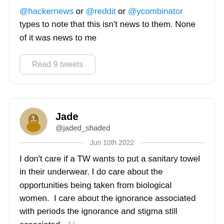@hackernews or @reddit or @ycombinator types to note that this isn't news to them. None of it was news to me
Read 9 tweets
Jade @jaded_shaded
Jun 10th 2022
I don't care if a TW wants to put a sanitary towel in their underwear. I do care about the opportunities being taken from biological women.  I care about the ignorance associated with periods the ignorance and stigma still associated. 1/
TW advertising sanitary products when they've never experienced the difficulties associated with menstruation i...